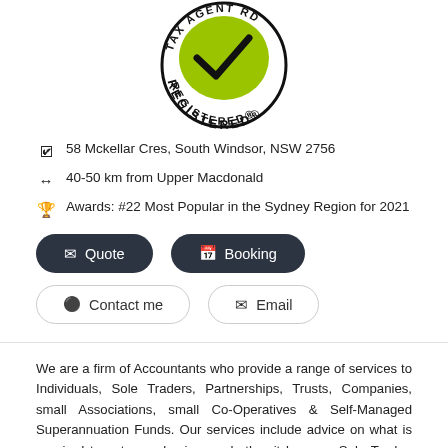[Figure (logo): Tax Practitioner Board 'Tax Agent Registered' circular logo with green checkmark]
📍 58 Mckellar Cres, South Windsor, NSW 2756
↔ 40-50 km from Upper Macdonald
🏆 Awards: #22 Most Popular in the Sydney Region for 2021
We are a firm of Accountants who provide a range of services to Individuals, Sole Traders, Partnerships, Trusts, Companies, small Associations, small Co-Operatives & Self-Managed Superannuation Funds. Our services include advice on what is required to set up a business whether it be as a Sole Trader, Partnership or a Pty Ltd Company. This advice also includes compliance with Tax Regulations &